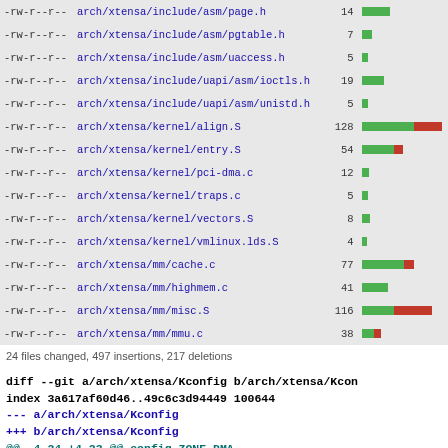| perm | filename | num | bar |
| --- | --- | --- | --- |
| -rw-r--r-- | arch/xtensa/include/asm/page.h | 14 | green-large |
| -rw-r--r-- | arch/xtensa/include/asm/pgtable.h | 7 | green-small |
| -rw-r--r-- | arch/xtensa/include/asm/uaccess.h | 5 | green-tiny |
| -rw-r--r-- | arch/xtensa/include/uapi/asm/ioctls.h | 19 | green-medium |
| -rw-r--r-- | arch/xtensa/include/uapi/asm/unistd.h | 5 | green-tiny |
| -rw-r--r-- | arch/xtensa/kernel/align.S | 128 | green-large red-large |
| -rw-r--r-- | arch/xtensa/kernel/entry.S | 54 | green-large red-small |
| -rw-r--r-- | arch/xtensa/kernel/pci-dma.c | 12 | green-tiny |
| -rw-r--r-- | arch/xtensa/kernel/traps.c | 5 | green-tiny |
| -rw-r--r-- | arch/xtensa/kernel/vectors.S | 8 | green-tiny |
| -rw-r--r-- | arch/xtensa/kernel/vmlinux.lds.S | 4 | green-tiny |
| -rw-r--r-- | arch/xtensa/mm/cache.c | 77 | green-medium red-small |
| -rw-r--r-- | arch/xtensa/mm/highmem.c | 41 | green-medium |
| -rw-r--r-- | arch/xtensa/mm/misc.S | 116 | green-medium red-large |
| -rw-r--r-- | arch/xtensa/mm/mmu.c | 38 | green-small red-tiny |
24 files changed, 497 insertions, 217 deletions
diff --git a/arch/xtensa/Kconfig b/arch/xtensa/Kcon
index 3a617af60d46..49c6c3d94449 100644
--- a/arch/xtensa/Kconfig
+++ b/arch/xtensa/Kconfig
@@ -4,24 +4,23 @@ config ZONE_DMA
 config XTENSA
         def_bool y
         select ARCH_WANT_FRAME_POINTERS
-        select HAVE_IDE